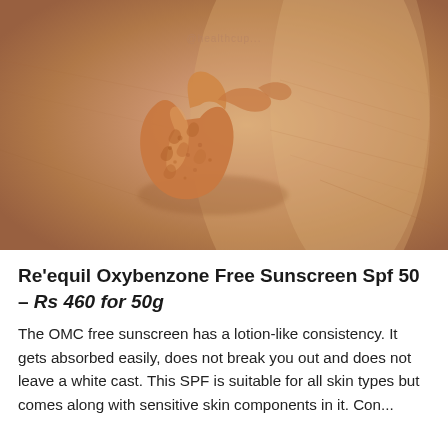[Figure (photo): Close-up macro photo of an orange/tan tinted sunscreen product swatch applied on human skin (back of hand), showing the cream's texture and color against the skin tone. A watermark '@healthcup...' is faintly visible.]
Re'equil Oxybenzone Free Sunscreen Spf 50 – Rs 460 for 50g
The OMC free sunscreen has a lotion-like consistency. It gets absorbed easily, does not break you out and does not leave a white cast. This SPF is suitable for all skin types but comes along with sensitive skin components in it. Con...